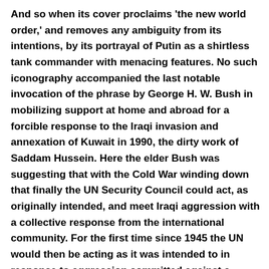And so when its cover proclaims 'the new world order,' and removes any ambiguity from its intentions, by its portrayal of Putin as a shirtless tank commander with menacing features. No such iconography accompanied the last notable invocation of the phrase by George H. W. Bush in mobilizing support at home and abroad for a forcible response to the Iraqi invasion and annexation of Kuwait in 1990, the dirty work of Saddam Hussein. Here the elder Bush was suggesting that with the Cold War winding down that finally the UN Security Council could act, as originally intended, and meet Iraqi aggression with a collective response from the international community. For the first time since 1945 the UN would then be acting as it was intended to in response to aggression committed against a sovereign state. With only slight